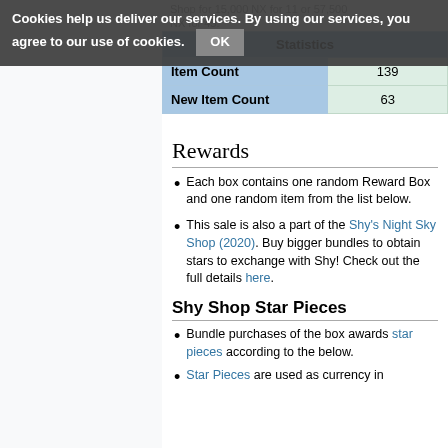Cookies help us deliver our services. By using our services, you agree to our use of cookies. OK
Shop for 15,000 NX for 11 or 57,500 NX for 45.
| Statistics |
| --- |
| Item Count | 139 |
| New Item Count | 63 |
Rewards
Each box contains one random Reward Box and one random item from the list below.
This sale is also a part of the Shy's Night Sky Shop (2020). Buy bigger bundles to obtain stars to exchange with Shy! Check out the full details here.
Shy Shop Star Pieces
Bundle purchases of the box awards star pieces according to the below.
Star Pieces are used as currency in